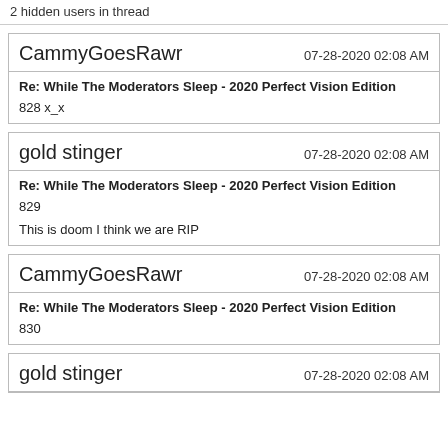2 hidden users in thread
CammyGoesRawr 07-28-2020 02:08 AM
Re: While The Moderators Sleep - 2020 Perfect Vision Edition
828 x_x
gold stinger 07-28-2020 02:08 AM
Re: While The Moderators Sleep - 2020 Perfect Vision Edition
829
This is doom I think we are RIP
CammyGoesRawr 07-28-2020 02:08 AM
Re: While The Moderators Sleep - 2020 Perfect Vision Edition
830
gold stinger 07-28-2020 02:08 AM